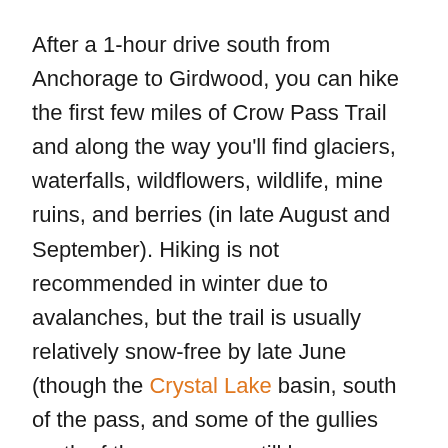After a 1-hour drive south from Anchorage to Girdwood, you can hike the first few miles of Crow Pass Trail and along the way you'll find glaciers, waterfalls, wildflowers, wildlife, mine ruins, and berries (in late August and September). Hiking is not recommended in winter due to avalanches, but the trail is usually relatively snow-free by late June (though the Crystal Lake basin, south of the pass, and some of the gullies north of the pass may still have snow well into the summer).
Considered to be one of the best hikes in all of the Chugach Mountains, Crow Pass follows a